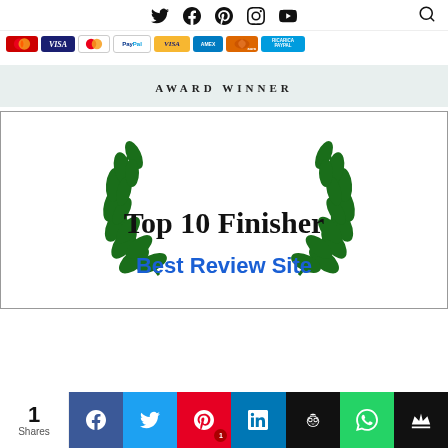Social media icons navigation bar with Twitter, Facebook, Pinterest, Instagram, YouTube icons and search icon
[Figure (other): Row of payment method icons: Maestro, Visa, MasterCard, PayPal, Visa (yellow), American Express, Aura, Ricarica PayPal]
AWARD WINNER
[Figure (illustration): Award badge with green laurel wreath on both sides and text 'Top 10 Finisher' in large serif font, and 'Best Review Site' in blue below]
Share bar: 1 Share, Facebook, Twitter, Pinterest (1), LinkedIn, Hootsuite/Owl, WhatsApp, Crown